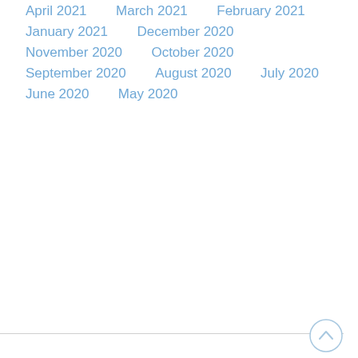April 2021
March 2021
February 2021
January 2021
December 2020
November 2020
October 2020
September 2020
August 2020
July 2020
June 2020
May 2020